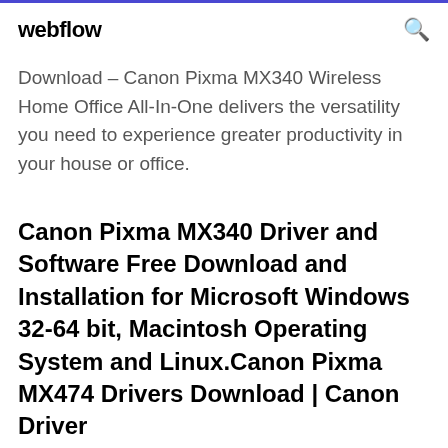webflow
Download – Canon Pixma MX340 Wireless Home Office All-In-One delivers the versatility you need to experience greater productivity in your house or office.
Canon Pixma MX340 Driver and Software Free Download and Installation for Microsoft Windows 32-64 bit, Macintosh Operating System and Linux.Canon Pixma MX474 Drivers Download | Canon Driver